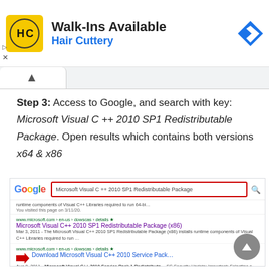[Figure (screenshot): Hair Cuttery advertisement banner with logo and 'Walk-Ins Available' heading]
Step 3: Access to Google, and search with key: Microsoft Visual C ++ 2010 SP1 Redistributable Package. Open results which contains both versions x64 & x86
[Figure (screenshot): Google search results screenshot showing search for 'Microsoft Visual C ++ 2010 SP1 Redistributable Package' with results including x86 and Service Pack links, with a red arrow pointing to the Download link]